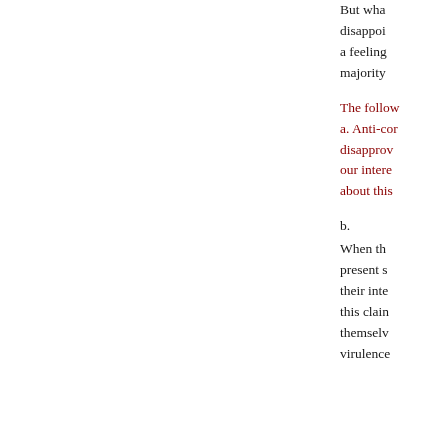But what disappoi a feeling majority
The follow a. Anti-cor disapprov our intere about this
b. When the present s their inte this claim themselv virulence